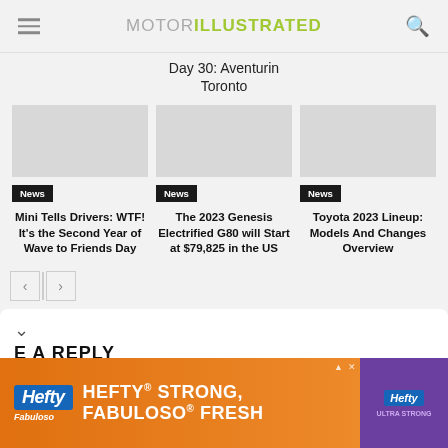MOTOR ILLUSTRATED
Day 30: Aventurin Toronto
2022
[Figure (screenshot): Thumbnail image placeholder for Mini article]
News
Mini Tells Drivers: WTF! It's the Second Year of Wave to Friends Day
[Figure (screenshot): Thumbnail image placeholder for Genesis article]
News
The 2023 Genesis Electrified G80 will Start at $79,825 in the US
[Figure (screenshot): Thumbnail image placeholder for Toyota article]
News
Toyota 2023 Lineup: Models And Changes Overview
← →
LEAVE A REPLY
[Figure (photo): Hefty advertisement banner: HEFTY STRONG, FABULOSO FRESH - orange background with Hefty and Fabuloso branding]